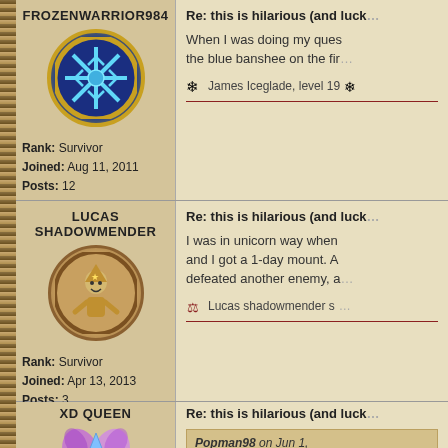FROZENWARRIOR984
[Figure (illustration): Circular avatar with blue snowflake icon on dark blue background, gold border, for user FrozenWarrior984]
Rank: Survivor
Joined: Aug 11, 2011
Posts: 12
Re: this is hilarious (and lucky
When I was doing my ques the blue banshee on the fir
James Iceglade, level 19
LUCAS SHADOWMENDER
[Figure (illustration): Circular avatar showing a cartoon wizard character drawn in simple style on tan/brown background, for user Lucas Shadowmender]
Rank: Survivor
Joined: Apr 13, 2013
Posts: 3
Re: this is hilarious (and lucky
I was in unicorn way when and I got a 1-day mount. A defeated another enemy, a
Lucas shadowmender s
XD QUEEN
[Figure (illustration): Partial avatar showing purple fairy/wings illustration for user XD Queen]
Re: this is hilarious (and lucky
Popman98 on Jun 1,
nice, that was lucky